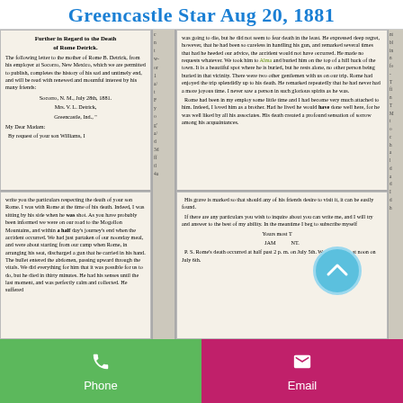Greencastle Star Aug 20, 1881
Further in Regard to the Death of Rome Detrick.
The following letter to the mother of Rome B. Detrick, from his employer at Socorro, New Mexico, which we are permitted to publish, completes the history of his sad and untimely end, and will be read with renewed and mournful interest by his many friends: Socorro, N. M., July 28th, 1881. Mrs. V. L. Detrick, Greencastle, Ind., " My Dear Madam: By request of your son Williams, I
write you the particulars respecting the death of your son Rome. I was with Rome at the time of his death. Indeed, I was sitting by his side when he was shot. As you have probably been informed we were on our road to the Mogollon Mountains, and within a half day's journey's end when the accident occurred. We had just partaken of our noonday meal, and were about starting from our camp when Rome, in arranging his seat, discharged a gun that he carried in his hand. The bullet entered the abdomen, passing upward through the vitals. We did everything for him that it was possible for us to do, but he died in thirty minutes. He had his senses until the last moment, and was perfectly calm and collected. He suffered
was going to die, but he did not seem to fear death in the least. He expressed deep regret, however, that he had been so careless in handling his gun, and remarked several times that had he heeded our advice, the accident would not have occurred. He made no requests whatever. We took him to Alma and buried him on the top of a hill back of the town. It is a beautiful spot where he is buried, but he rests alone, no other person being buried in that vicinity. There were two other gentlemen with us on our trip. Rome had enjoyed the trip splendidly up to his death. He remarked repeatedly that he had never had a more joyous time. I never saw a person in such glorious spirits as he was. Rome had been in my employ some little time and I had become very much attached to him. Indeed, I loved him as a brother. Had he lived he would have done well here, for he was well liked by all his associates. His death created a profound sensation of sorrow among his acquaintances. His grave is marked so that should any of his friends desire to visit it, it can be easily found. If there are any particulars you wish to inquire about you can write me, and I will try and answer to the best of my ability. In the meantime I beg to subscribe myself Yours most Truly, JAMES W. NT. P. S. Rome's death occurred at half past 2 p.m. on July 5th. We buried him at noon on July 6th.